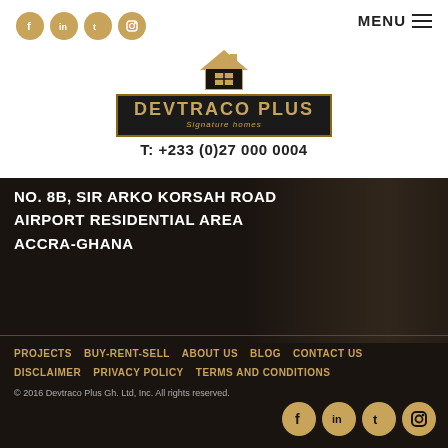[Figure (logo): Devtraco Plus logo with golden house icon and company name on dark background with gold border]
T: +233 (0)27 000 0004
NO. 8B, SIR ARKO KORSAH ROAD
AIRPORT RESIDENTIAL AREA
ACCRA-GHANA
PROJECTS   BUY-RENT-SELL   ABOUT US   BLOG   CONTACT US
DISCLAIMER   PRIVACY POLICY   TERMS AND CONDITIONS
© 2016 Devtraco Plus Gh. Ltd, Inc. All rights reserved.